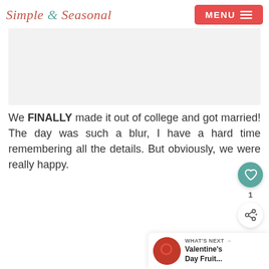Simple & Seasonal
[Figure (other): Advertisement placeholder banner, light gray background]
We FINALLY made it out of college and got married! The day was such a blur, I have a hard time remembering all the details. But obviously, we were really happy.
[Figure (other): Floating action buttons: heart/like button with count 1, and share button]
WHAT'S NEXT → Valentine's Day Fruit...